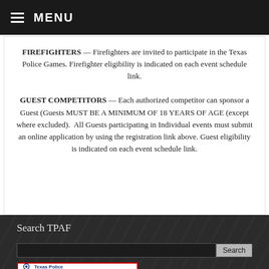MENU
FIREFIGHTERS — Firefighters are invited to participate in the Texas Police Games. Firefighter eligibility is indicated on each event schedule link.
GUEST COMPETITORS — Each authorized competitor can sponsor a Guest (Guests MUST BE A MINIMUM OF 18 YEARS OF AGE (except where excluded).  All Guests participating in Individual events must submit an online application by using the registration link above. Guest eligibility is indicated on each event schedule link.
Search TPAF
[Figure (screenshot): Search input field with Search button and Texas Police logo partially visible at bottom]